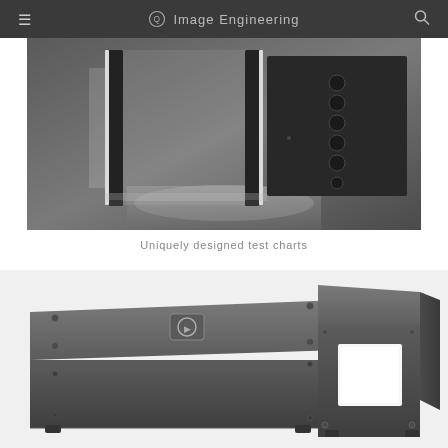Image Engineering
[Figure (photo): Two dark metal panel frames with illuminated LED strips on sides, showing test chart enclosure equipment from Image Engineering, photographed in a studio setting against a gray gradient background. Right side shows a panel with circular port holes or connectors.]
Uniquely designed test charts
[Figure (photo): Two dark gray metallic box enclosures from Image Engineering — left shows a rectangular flat box with a circular logo badge on top, right shows a cube-shaped box with a square white aperture opening on its face, both shown on a white background.]